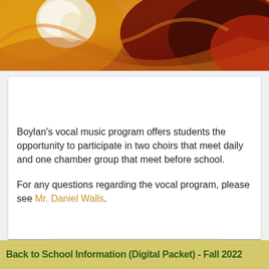[Figure (illustration): Colorful abstract artwork with orange, yellow, white, red, and dark brown tones, appearing to be a painting or illustration at the top of the page.]
Boylan's vocal music program offers students the opportunity to participate in two choirs that meet daily and one chamber group that meet before school.
For any questions regarding the vocal program, please see Mr. Daniel Walls.
[Figure (photo): Partial photo visible at bottom of white card.]
Back to School Information (Digital Packet) - Fall 2022